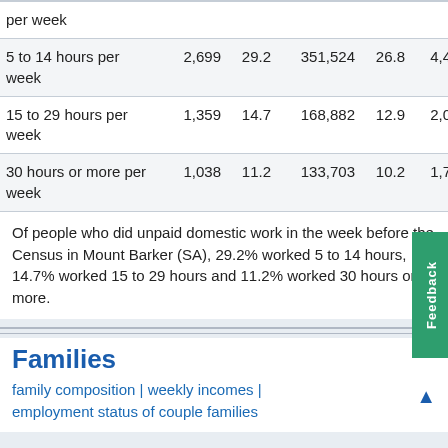|  | Number | % | Number | % | Number |
| --- | --- | --- | --- | --- | --- |
| per week |  |  |  |  |  |
| 5 to 14 hours per week | 2,699 | 29.2 | 351,524 | 26.8 | 4,444,640 |
| 15 to 29 hours per week | 1,359 | 14.7 | 168,882 | 12.9 | 2,075,154 |
| 30 hours or more per week | 1,038 | 11.2 | 133,703 | 10.2 | 1,746,196 |
Of people who did unpaid domestic work in the week before the Census in Mount Barker (SA), 29.2% worked 5 to 14 hours, 14.7% worked 15 to 29 hours and 11.2% worked 30 hours or more.
Families
family composition | weekly incomes | employment status of couple families